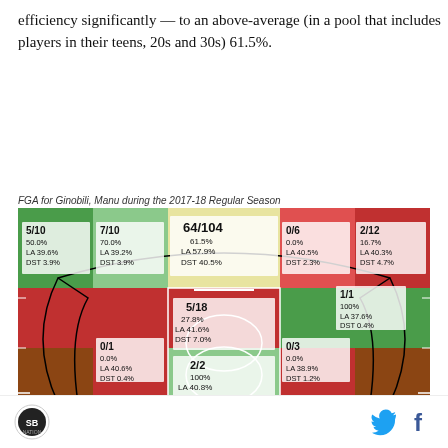efficiency significantly — to an above-average (in a pool that includes players in their teens, 20s and 30s) 61.5%.
FGA for Ginobili, Manu during the 2017-18 Regular Season
[Figure (other): Basketball shot chart (heat map) for Manu Ginobili during the 2017-18 Regular Season showing field goal attempts by zone with makes/attempts, percentage, league average (LA), and defender distance (DST) for each zone. Zones are color-coded green (above average), yellow (average), red (below average). Zones: Left corner 5/10 50.0% LA 39.6% DST 3.9%; Left mid 7/10 70.0% LA 39.2% DST 3.9%; Center/3pt 64/104 61.5% LA 57.9% DST 40.5%; Right corner 0/6 0.0% LA 40.5% DST 2.3%; Far right 2/12 16.7% LA 40.3% DST 4.7%; Right mid-high 1/1 100% LA 37.6% DST 0.4%; Paint 5/18 27.8% LA 41.6% DST 7.0%; Left low 0/1 0.0% LA 40.6% DST 0.4%; Restricted area 2/2 100% LA 40.8% DST 0.8%; Right low 0/3 0.0% LA 38.9% DST 1.2%.]